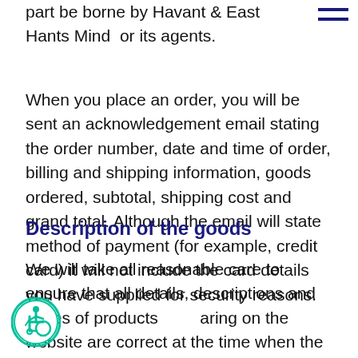part be borne by Havant & East Hants Mind  or its agents.
When you place an order, you will be sent an acknowledgement email stating the order number, date and time of order, billing and shipping information, goods ordered, subtotal, shipping cost and grand total. Although the email will state method of payment (for example, credit card) it will not include the card details you have supplied for security reasons.
Description of the goods
We will take all reasonable care to ensure that all details, descriptions and prices of products appearing on the website are correct at the time when the relevant information was entered onto